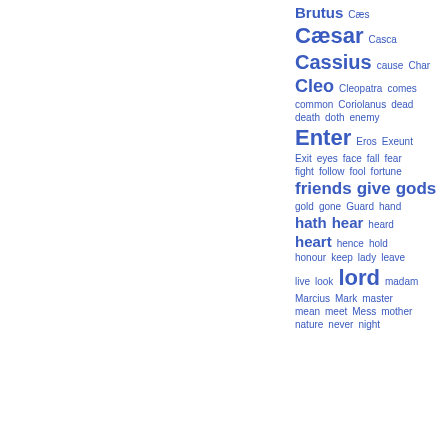[Figure (other): Word cloud of terms from Shakespeare's Roman plays (Julius Caesar, Antony and Cleopatra, Coriolanus, Timon of Athens). Words sized by frequency, rendered in blue on white background. Words visible: Brutus, Cæs, Cæsar, Casca, Cassius, cause, Char, Cleo, Cleopatra, comes, common, Coriolanus, dead, death, doth, enemy, Enter, Eros, Exeunt, Exit, eyes, face, fall, fear, fight, follow, fool, fortune, friends, give, gods, gold, gone, Guard, hand, hath, hear, heard, heart, hence, hold, honour, keep, lady, leave, live, look, lord, madam, Marcius, Mark, master, mean, meet, Mess, mother, nature, never, night]